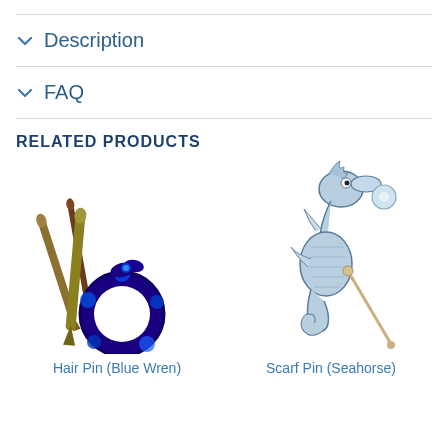Description
FAQ
RELATED PRODUCTS
[Figure (photo): Hair Pin (Blue Wren) product photo showing two wooden stick hair pins and a round blue floral patterned hair pin ring]
Hair Pin (Blue Wren)
[Figure (photo): Scarf Pin (Seahorse) product photo showing a blue enamel seahorse brooch/scarf pin with long metal pin]
Scarf Pin (Seahorse)